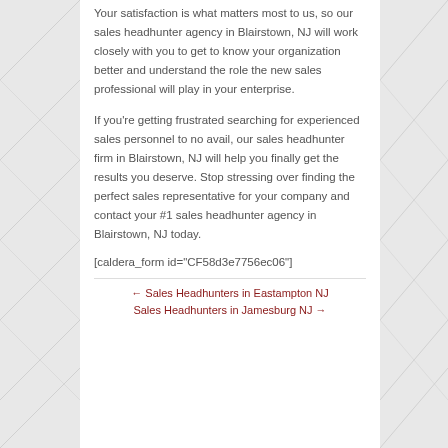Your satisfaction is what matters most to us, so our sales headhunter agency in Blairstown, NJ will work closely with you to get to know your organization better and understand the role the new sales professional will play in your enterprise.
If you're getting frustrated searching for experienced sales personnel to no avail, our sales headhunter firm in Blairstown, NJ will help you finally get the results you deserve. Stop stressing over finding the perfect sales representative for your company and contact your #1 sales headhunter agency in Blairstown, NJ today.
[caldera_form id="CF58d3e7756ec06"]
← Sales Headhunters in Eastampton NJ
Sales Headhunters in Jamesburg NJ →